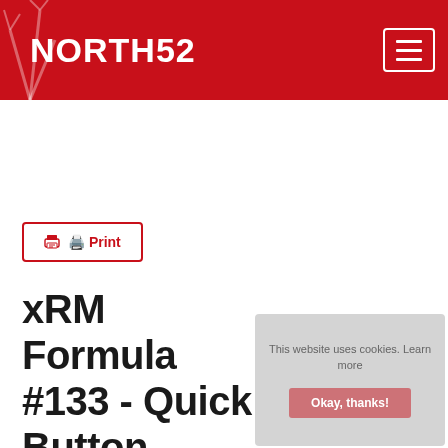NORTH52
Print
xRM Formula #133 - Quick Button Share Record with Secure Team
This website uses cookies. Learn more
Okay, thanks!